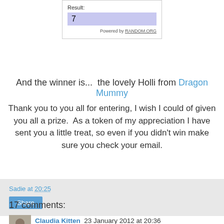[Figure (screenshot): Random.org number generator widget showing Result: 7 in a purple-highlighted box, Powered by RANDOM.ORG]
And the winner is...  the lovely Holli from Dragon Mummy
Thank you to you all for entering, I wish I could of given you all a prize.  As a token of my appreciation I have sent you a little treat, so even if you didn't win make sure you check your email.
Sadie at 20:25
Share
17 comments:
Claudia Kitten  23 January 2012 at 20:36